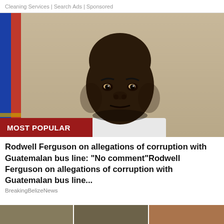Cleaning Services | Search Ads | Sponsored
[Figure (photo): Portrait of Rodwell Ferguson, a dark-skinned man with a shaved head wearing a white shirt, standing in front of a Guatemalan flag. Red banner overlay reads 'MOST POPULAR'.]
Rodwell Ferguson on allegations of corruption with Guatemalan bus line: "No comment"Rodwell Ferguson on allegations of corruption with Guatemalan bus line...
BreakingBelizeNews
[Figure (photo): Bottom strip showing partial thumbnail images of additional news stories.]